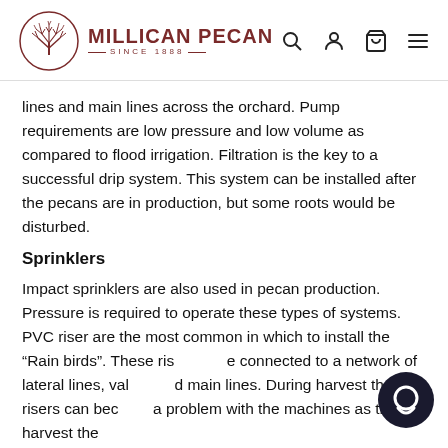MILLICAN PECAN SINCE 1888
lines and main lines across the orchard. Pump requirements are low pressure and low volume as compared to flood irrigation. Filtration is the key to a successful drip system. This system can be installed after the pecans are in production, but some roots would be disturbed.
Sprinklers
Impact sprinklers are also used in pecan production. Pressure is required to operate these types of systems. PVC riser are the most common in which to install the “Rain birds”. These risers are connected to a network of lateral lines, valves and main lines. During harvest these risers can become a problem with the machines as they harvest the